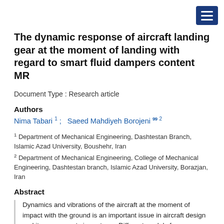The dynamic response of aircraft landing gear at the moment of landing with regard to smart fluid dampers content MR
Document Type : Research article
Authors
Nima Tabari 1 ;   Saeed Mahdiyeh Borojeni [orcid] 2
1 Department of Mechanical Engineering, Dashtestan Branch, Islamic Azad University, Boushehr, Iran
2 Department of Mechanical Engineering, College of Mechanical Engineering, Dashtestan branch, Islamic Azad University, Borazjan, Iran
Abstract
Dynamics and vibrations of the aircraft at the moment of impact with the ground is an important issue in aircraft design and its components in systems. Different models for